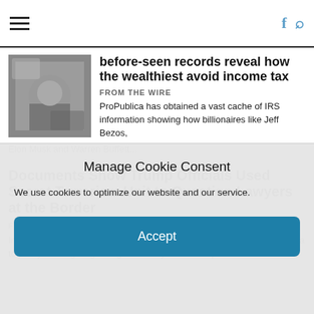before-seen records reveal how the wealthiest avoid income tax
FROM THE WIRE
ProPublica has obtained a vast cache of IRS information showing how billionaires like Jeff Bezos, Elon Musk and Warren Buffett...
Documents Show Trump Officials Used Secret Terrorism Unit to Question Lawyers at the Border
FROM THE WIRE
In newly disclosed records, Trump officials cited conspiracies about Antifa to justify interrogating immigration lawyers with a special terrorism unit.
Manage Cookie Consent
We use cookies to optimize our website and our service.
Accept